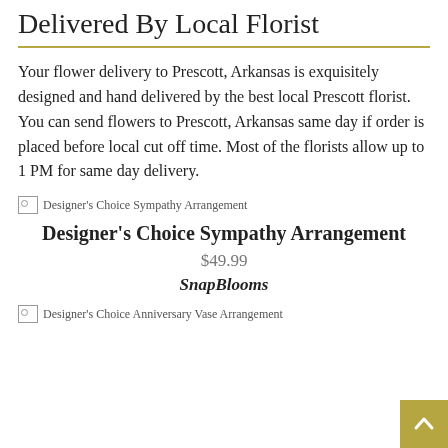Delivered By Local Florist
Your flower delivery to Prescott, Arkansas is exquisitely designed and hand delivered by the best local Prescott florist. You can send flowers to Prescott, Arkansas same day if order is placed before local cut off time. Most of the florists allow up to 1 PM for same day delivery.
[Figure (photo): Broken image placeholder for Designer's Choice Sympathy Arrangement]
Designer's Choice Sympathy Arrangement
$49.99
SnapBlooms
[Figure (photo): Broken image placeholder for Designer's Choice Anniversary Vase Arrangement]